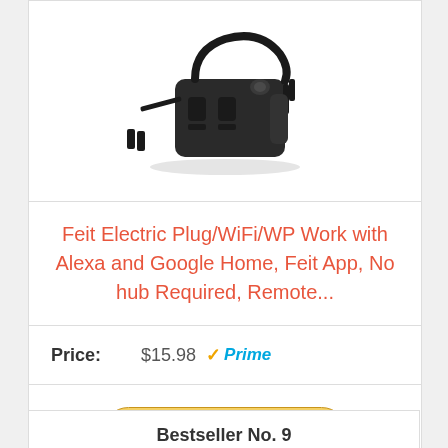[Figure (photo): Feit Electric smart WiFi outdoor plug adapter in black, with two outlet sockets, shown on white background]
Feit Electric Plug/WiFi/WP Work with Alexa and Google Home, Feit App, No hub Required, Remote...
Price: $15.98 Prime
View Products
Bestseller No. 9